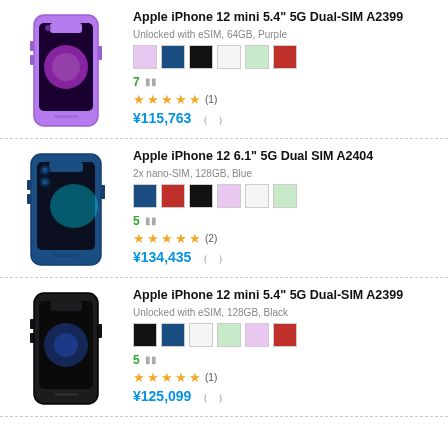[Figure (other): Apple iPhone 12 mini purple product listing with color swatches, rating, and price]
Apple iPhone 12 mini 5.4" 5G Dual-SIM A2399
Unlocked with eSIM, 64GB, Purple
7 offers | ★★★★★ (1) | ¥115,763
[Figure (other): Apple iPhone 12 blue product listing with color swatches, rating, and price]
Apple iPhone 12 6.1" 5G Dual SIM A2404
2x nano-SIM, 128GB, Blue
5 offers | ★★★★★ (2) | ¥134,435
[Figure (other): Apple iPhone 12 mini black product listing with color swatches, rating, and price]
Apple iPhone 12 mini 5.4" 5G Dual-SIM A2399
Unlocked with eSIM, 128GB, Black
5 offers | ★★★★★ (1) | ¥125,099